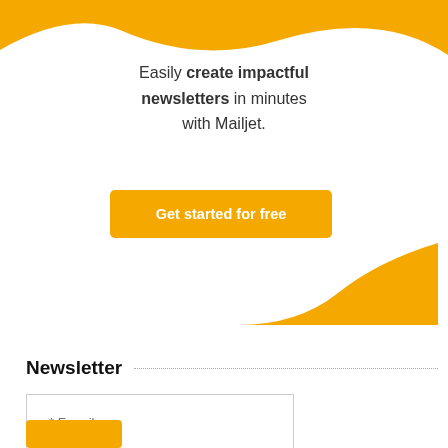[Figure (illustration): Orange decorative wave/curve shape in the top-left corner of the page]
Easily create impactful newsletters in minutes with Mailjet.
[Figure (illustration): Orange button labeled 'Get started for free']
[Figure (illustration): Orange decorative wave/hill shape in the lower-center area]
Newsletter
* E-mail
Name